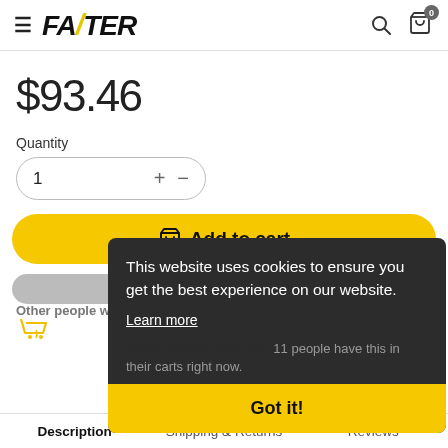FAZTER
$93.46
Quantity
1
[Figure (screenshot): Add to cart yellow button with cart icon]
This website uses cookies to ensure you get the best experience on our website.
Learn more
Other people want this. 11 people have this in their carts right now.
Got it!
Description   Shipping & Returns   Reviews